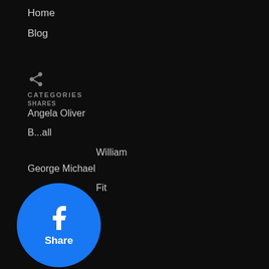Home
Blog
CATEGORIES
Angela Oliver
...all
...William
George Michael
...Fit
CONTACT
[Figure (infographic): Facebook Share button (blue circle with Facebook logo icon and 'Share' label)]
[Figure (infographic): Pinterest button (red circle with Pinterest logo icon and '1' share count)]
[Figure (infographic): Twitter Tweet button (blue circle with Twitter bird icon and 'Tweet' label)]
[Figure (infographic): Email button (light blue circle with envelope icon and 'Email' label)]